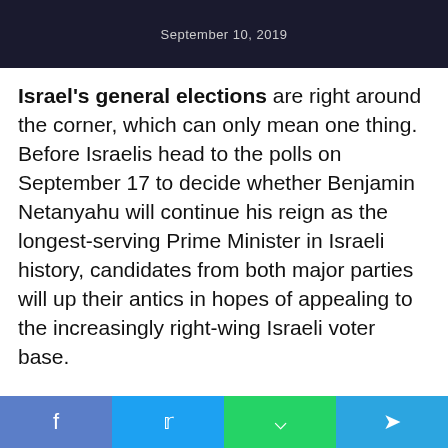September 10, 2019
Israel's general elections are right around the corner, which can only mean one thing. Before Israelis head to the polls on September 17 to decide whether Benjamin Netanyahu will continue his reign as the longest-serving Prime Minister in Israeli history, candidates from both major parties will up their antics in hopes of appealing to the increasingly right-wing Israeli voter base.
Depending on how you look at it, the election is really between Netanyahu and himself. Over the past year, the Prime Minister's party, Likud, has found itself embroiled in internal turmoil.
f  y  [whatsapp]  [telegram]